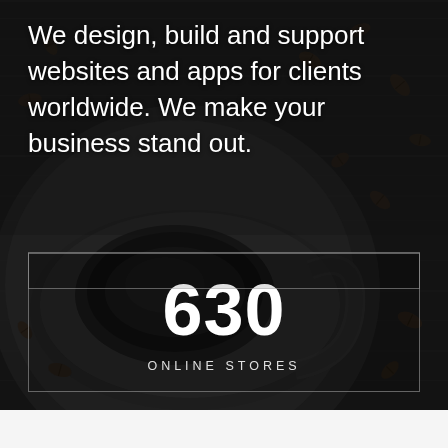[Figure (photo): Dark background with overhead view of a coffee cup and coffee beans scattered on a wooden surface, creating a textured dark ambiance.]
We design, build and support websites and apps for clients worldwide. We make your business stand out.
630
ONLINE STORES
0
HAPPY BUYERS